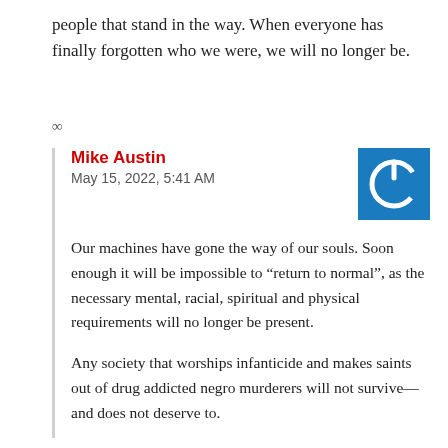people that stand in the way. When everyone has finally forgotten who we were, we will no longer be.
∞
Mike Austin
May 15, 2022, 5:41 AM
[Figure (logo): Blue square avatar with white power button icon]
Our machines have gone the way of our souls. Soon enough it will be impossible to “return to normal”, as the necessary mental, racial, spiritual and physical requirements will no longer be present.
Any society that worships infanticide and makes saints out of drug addicted negro murderers will not survive—and does not deserve to.